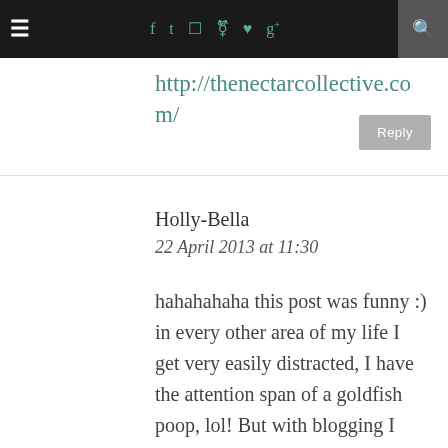≡  f  t  [instagram]  [pinterest]  [heart]  g+  [search]
http://thenectarcollective.com/
Reply
Holly-Bella
22 April 2013 at 11:30
hahahahaha this post was funny :) in every other area of my life I get very easily distracted, I have the attention span of a goldfish poop, lol! But with blogging I have to be really organised, cause I'm getting